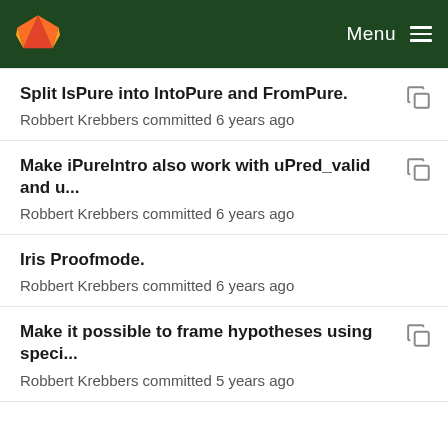GitLab — Menu
Split IsPure into IntoPure and FromPure.
Robbert Krebbers committed 6 years ago
Make iPureIntro also work with uPred_valid and u...
Robbert Krebbers committed 6 years ago
Iris Proofmode.
Robbert Krebbers committed 6 years ago
Make it possible to frame hypotheses using speci...
Robbert Krebbers committed 5 years ago